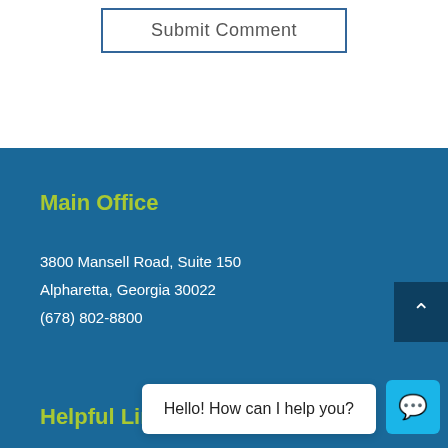Submit Comment
Main Office
3800 Mansell Road, Suite 150
Alpharetta, Georgia 30022
(678) 802-8800
Helpful Links
Hello! How can I help you?